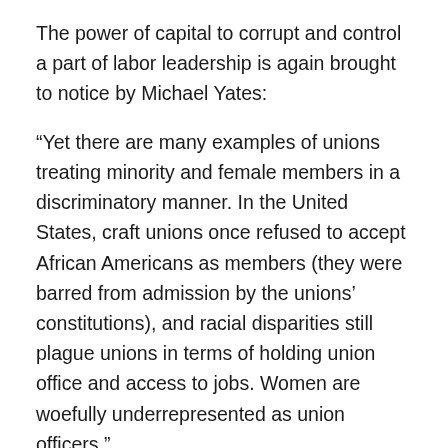The power of capital to corrupt and control a part of labor leadership is again brought to notice by Michael Yates:
“Yet there are many examples of unions treating minority and female members in a discriminatory manner. In the United States, craft unions once refused to accept African Americans as members (they were barred from admission by the unions’ constitutions), and racial disparities still plague unions in terms of holding union office and access to jobs. Women are woefully underrepresented as union officers.”
A fatal practice by a part of leadership – discrimination in union themselves – in the service of capital! And, this is a power of capital, a power that needs to be assessed by labor for